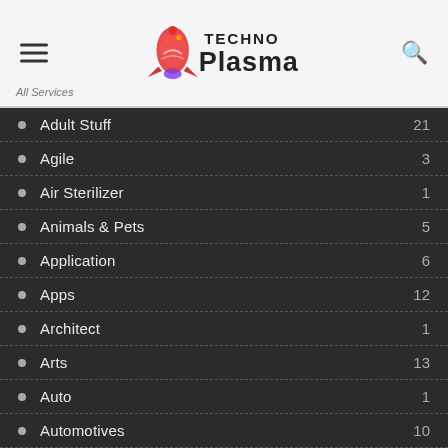Techno Plasma — navigation header with hamburger menu and search icon
Adult Stuff 21
Agile 3
Air Sterilizer 1
Animals & Pets 5
Application 6
Apps 12
Architect 1
Arts 13
Auto 1
Automotives 10